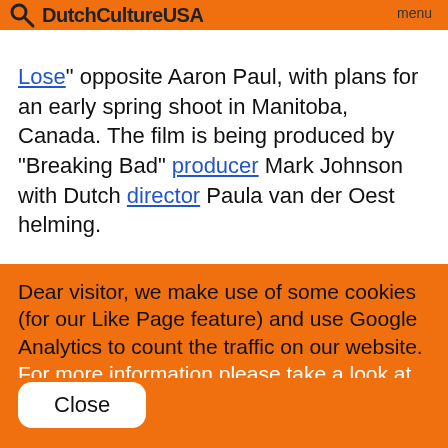DutchCultureUSA
Lose" opposite Aaron Paul, with plans for an early spring shoot in Manitoba, Canada. The film is being produced by "Breaking Bad" producer Mark Johnson with Dutch director Paula van der Oest helming.
"The Parts You Lose" centers on a young hearing impaired boy who encounters an
Dear visitor, we make use of some cookies (for our Like Page feature) and use Google Analytics to count the traffic on our website. For more information please take a look at our cookie policy.
Close